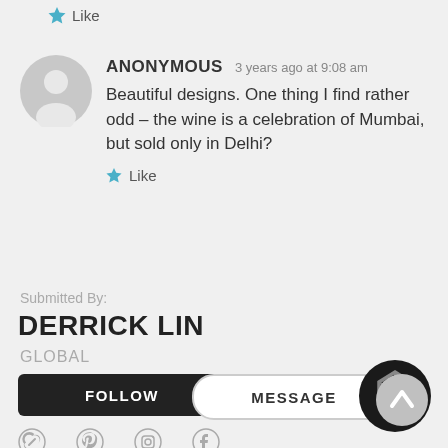Like
ANONYMOUS  3 years ago at 9:08 am
Beautiful designs. One thing I find rather odd – the wine is a celebration of Mumbai, but sold only in Delhi?
Like
Submitted By:
DERRICK LIN
GLOBAL
FOLLOW
MESSAGE